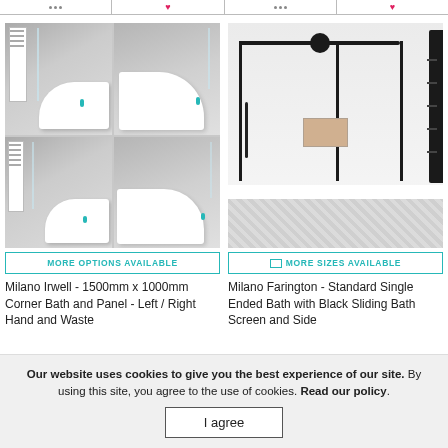[Figure (screenshot): Top navigation bar strip with pagination dots and heart icon]
[Figure (photo): Milano Irwell corner bath product image grid - four views of white corner bath with glass screen and towel rail in grey tiled bathroom]
MORE OPTIONS AVAILABLE
Milano Irwell - 1500mm x 1000mm Corner Bath and Panel - Left / Right Hand and Waste
[Figure (photo): Milano Farington single ended bath with black sliding bath screen and side panel, marble wall background, black towel rail]
MORE SIZES AVAILABLE
Milano Farington - Standard Single Ended Bath with Black Sliding Bath Screen and Side Panel, Chrome and Gr...
Our website uses cookies to give you the best experience of our site. By using this site, you agree to the use of cookies. Read our policy.
I agree